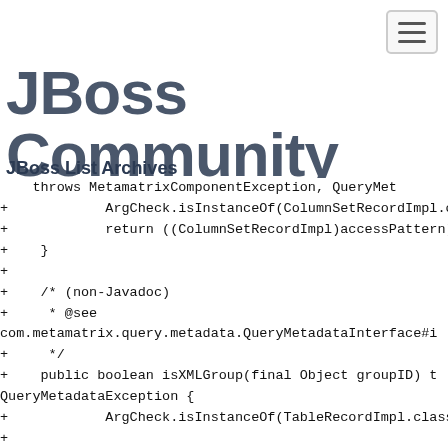JBoss Community
JBoss List Archives
throws MetamatrixComponentException, QueryMeta
+            ArgCheck.isInstanceOf(ColumnSetRecordImpl.cla
+            return ((ColumnSetRecordImpl)accessPattern).g
+    }
+
+    /* (non-Javadoc)
+     * @see
com.metamatrix.query.metadata.QueryMetadataInterface#i
+     */
+    public boolean isXMLGroup(final Object groupID) t
QueryMetadataException {
+            ArgCheck.isInstanceOf(TableRecordImpl.class,
+
+            TableRecordImpl tableRecord = (TableRecordImp
+            return tableRecord.getTableType() == TableRec
+    }
+
+    /**